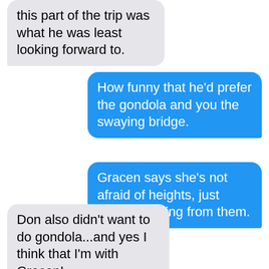this part of the trip was what he was least looking forward to.
How funny that he'd prefer the gondola and you the swaying bridge.
Gracen says she's not afraid of heights, just afraid of falling from them.
Don also didn't want to do gondola...and yes I think that I'm with Gracen!